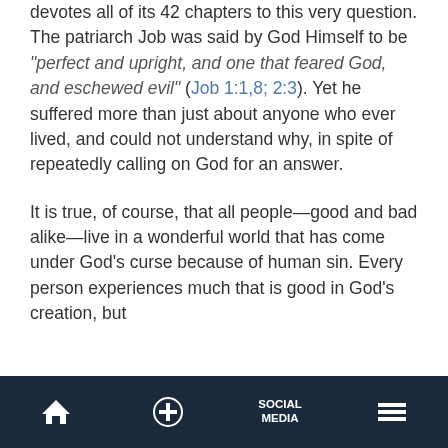devotes all of its 42 chapters to this very question. The patriarch Job was said by God Himself to be "perfect and upright, and one that feared God, and eschewed evil" (Job 1:1,8; 2:3). Yet he suffered more than just about anyone who ever lived, and could not understand why, in spite of repeatedly calling on God for an answer.
It is true, of course, that all people—good and bad alike—live in a wonderful world that has come under God's curse because of human sin. Every person experiences much that is good in God's creation, but
Home | + | SOCIAL MEDIA | Menu